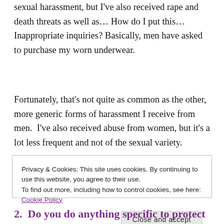sexual harassment, but I've also received rape and death threats as well as… How do I put this… Inappropriate inquiries? Basically, men have asked to purchase my worn underwear.
Fortunately, that's not quite as common as the other, more generic forms of harassment I receive from men.  I've also received abuse from women, but it's a lot less frequent and not of the sexual variety.
Privacy & Cookies: This site uses cookies. By continuing to use this website, you agree to their use.
To find out more, including how to control cookies, see here: Cookie Policy
[Close and accept]
2.  Do you do anything specific to protect